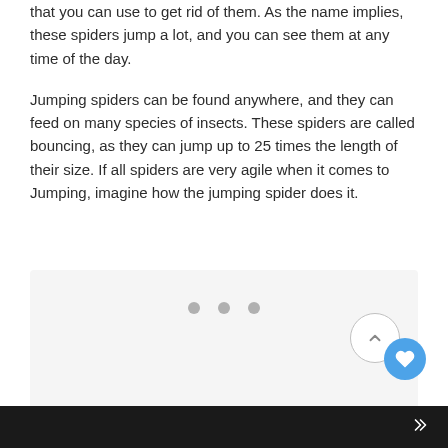that you can use to get rid of them. As the name implies, these spiders jump a lot, and you can see them at any time of the day.
Jumping spiders can be found anywhere, and they can feed on many species of insects. These spiders are called bouncing, as they can jump up to 25 times the length of their size. If all spiders are very agile when it comes to Jumping, imagine how the jumping spider does it.
[Figure (other): Image placeholder area with three grey dots (loading indicator) and UI controls: a back-to-top button and a heart/favorite button]